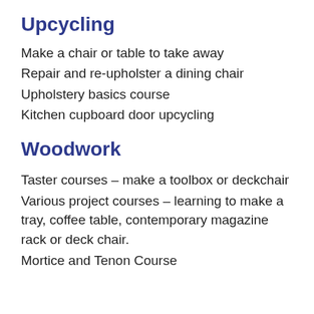Upcycling
Make a chair or table to take away
Repair and re-upholster a dining chair
Upholstery basics course
Kitchen cupboard door upcycling
Woodwork
Taster courses – make a toolbox or deckchair
Various project courses – learning to make a tray, coffee table, contemporary magazine rack or deck chair.
Mortice and Tenon Course